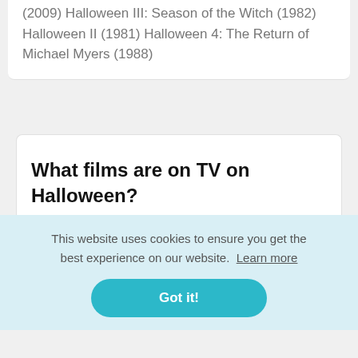(2009) Halloween III: Season of the Witch (1982) Halloween II (1981) Halloween 4: The Return of Michael Myers (1988)
What films are on TV on Halloween?
[Figure (other): Twitter and Blogger social media share icons]
This website uses cookies to ensure you get the best experience on our website. Learn more
Got it!
The Curse of Michael Myers (1995)